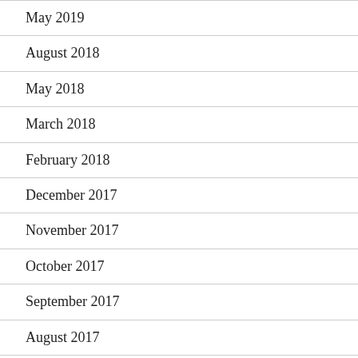May 2019
August 2018
May 2018
March 2018
February 2018
December 2017
November 2017
October 2017
September 2017
August 2017
July 2017